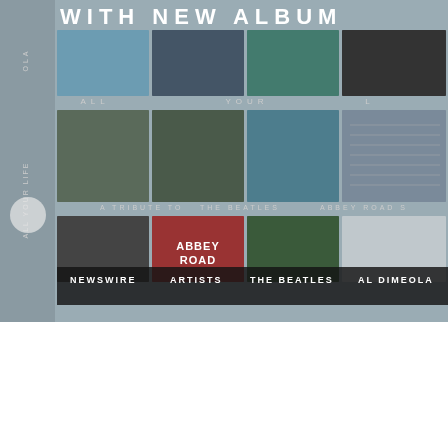WITH NEW ALBUM
[Figure (photo): Album art collage for Al DiMeola 'All Your Life' - a tribute to The Beatles recorded at Abbey Road Studios. Shows a 4x3 grid of photographs including street scenes, a figure in sunglasses, crosswalk, mixing board, Abbey Road sign, and concert images. Side text reads 'OLA' and 'ALL YOUR LIFE'. Row labels spell out 'ALL YOUR L' and 'A TRIBUTE TO THE BEATLES RECORDED AT ABBEY ROAD S'.]
NEWSWIRE
ARTISTS
THE BEATLES
AL DIMEOLA